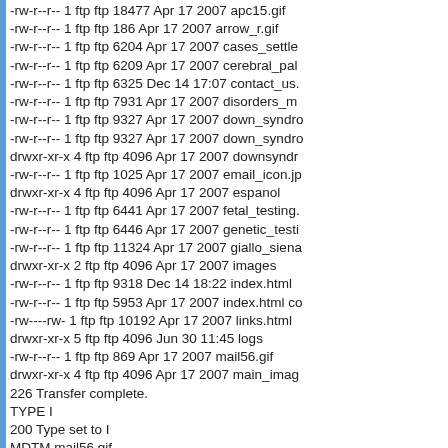-rw-r--r-- 1 ftp ftp 18477 Apr 17 2007 apc15.gif
-rw-r--r-- 1 ftp ftp 186 Apr 17 2007 arrow_r.gif
-rw-r--r-- 1 ftp ftp 6204 Apr 17 2007 cases_settle
-rw-r--r-- 1 ftp ftp 6209 Apr 17 2007 cerebral_pal
-rw-r--r-- 1 ftp ftp 6325 Dec 14 17:07 contact_us.
-rw-r--r-- 1 ftp ftp 7931 Apr 17 2007 disorders_m
-rw-r--r-- 1 ftp ftp 9327 Apr 17 2007 down_syndro
-rw-r--r-- 1 ftp ftp 9327 Apr 17 2007 down_syndro
drwxr-xr-x 4 ftp ftp 4096 Apr 17 2007 downsyndr
-rw-r--r-- 1 ftp ftp 1025 Apr 17 2007 email_icon.jp
drwxr-xr-x 4 ftp ftp 4096 Apr 17 2007 espanol
-rw-r--r-- 1 ftp ftp 6441 Apr 17 2007 fetal_testing.
-rw-r--r-- 1 ftp ftp 6446 Apr 17 2007 genetic_testi
-rw-r--r-- 1 ftp ftp 11324 Apr 17 2007 giallo_siena
drwxr-xr-x 2 ftp ftp 4096 Apr 17 2007 images
-rw-r--r-- 1 ftp ftp 9318 Dec 14 18:22 index.html
-rw-r--r-- 1 ftp ftp 5953 Apr 17 2007 index.html co
-rw----rw- 1 ftp ftp 10192 Apr 17 2007 links.html
drwxr-xr-x 5 ftp ftp 4096 Jun 30 11:45 logs
-rw-r--r-- 1 ftp ftp 869 Apr 17 2007 mail56.gif
drwxr-xr-x 4 ftp ftp 4096 Apr 17 2007 main_imag
226 Transfer complete.
TYPE I
200 Type set to I
MDTM mail56.gif
213 20070417045219
SIZE mail56.gif